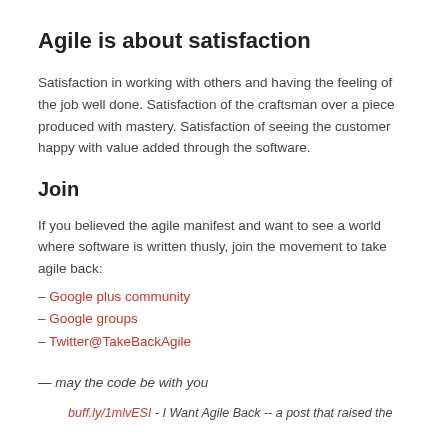Agile is about satisfaction
Satisfaction in working with others and having the feeling of the job well done. Satisfaction of the craftsman over a piece produced with mastery. Satisfaction of seeing the customer happy with value added through the software.
Join
If you believed the agile manifest and want to see a world where software is written thusly, join the movement to take agile back:
– Google plus community
– Google groups
– Twitter@TakeBackAgile
— may the code be with you
buff.ly/1mlvESI - I Want Agile Back -- a post that raised the